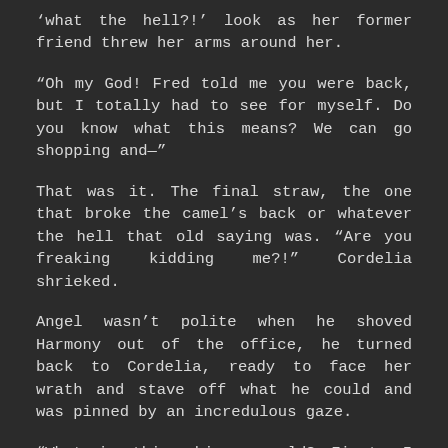'what the hell?!' look as her former friend threw her arms around her.
“Oh my God! Fred told me you were back, but I totally had to see for myself. Do you know what this means? We can go shopping and—”
That was it. The final straw, the one that broke the camel’s back or whatever the hell that old saying was. “Are you freaking kidding me?!” Cordelia shrieked.
Angel wasn’t polite when he shoved Harmony out of the office, he turned back to Cordelia, ready to face her wrath and stave off what he could and was pinned by an incredulous gaze.
“What is this, bizarroworld? First, I find out that you